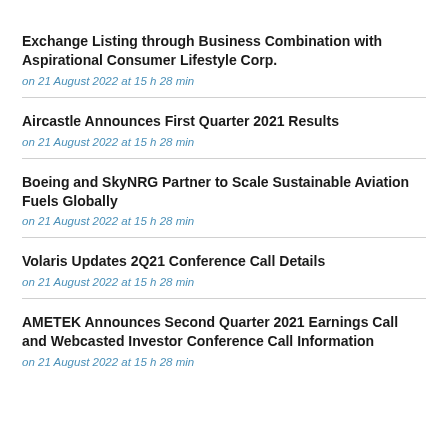Exchange Listing through Business Combination with Aspirational Consumer Lifestyle Corp.
on 21 August 2022 at 15 h 28 min
Aircastle Announces First Quarter 2021 Results
on 21 August 2022 at 15 h 28 min
Boeing and SkyNRG Partner to Scale Sustainable Aviation Fuels Globally
on 21 August 2022 at 15 h 28 min
Volaris Updates 2Q21 Conference Call Details
on 21 August 2022 at 15 h 28 min
AMETEK Announces Second Quarter 2021 Earnings Call and Webcasted Investor Conference Call Information
on 21 August 2022 at 15 h 28 min